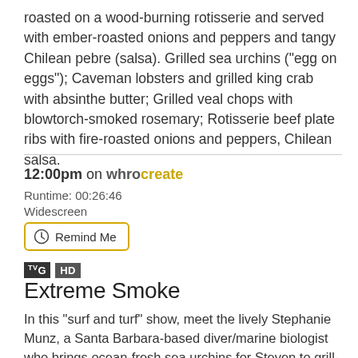roasted on a wood-burning rotisserie and served with ember-roasted onions and peppers and tangy Chilean pebre (salsa). Grilled sea urchins ("egg on eggs"); Caveman lobsters and grilled king crab with absinthe butter; Grilled veal chops with blowtorch-smoked rosemary; Rotisserie beef plate ribs with fire-roasted onions and peppers, Chilean salsa.
12:00pm on whrocreate
Runtime: 00:26:46
Widescreen
Remind Me
G HD
Extreme Smoke
In this "surf and turf" show, meet the lively Stephanie Munz, a Santa Barbara-based diver/marine biologist who brings ocean-fresh sea urchins for Steven to grill-topped with an egg and served with grilled bread. Local spiny lobster gets the